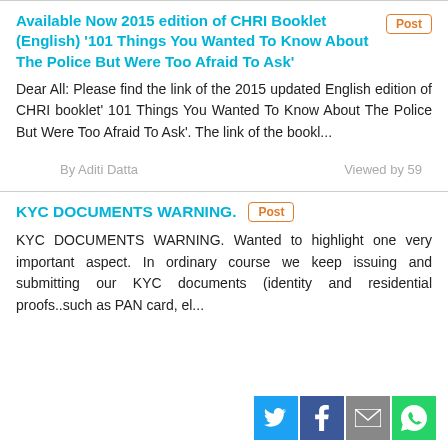Available Now 2015 edition of CHRI Booklet (English) '101 Things You Wanted To Know About The Police But Were Too Afraid To Ask'
Dear All: Please find the link of the 2015 updated English edition of CHRI booklet' 101 Things You Wanted To Know About The Police But Were Too Afraid To Ask'. The link of the bookl...
By Aditi Datta | Viewed by 59
KYC DOCUMENTS WARNING.
KYC DOCUMENTS WARNING. Wanted to highlight one very important aspect. In ordinary course we keep issuing and submitting our KYC documents (identity and residential proofs..such as PAN card, el...